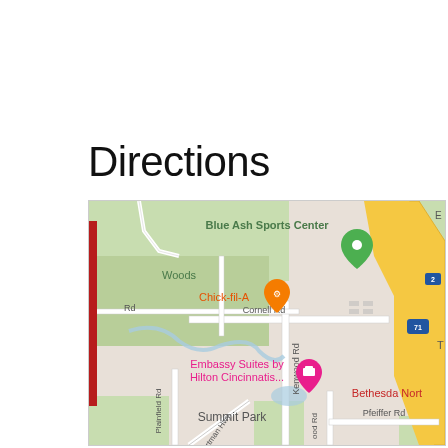Directions
[Figure (map): Google Maps screenshot showing Blue Ash Sports Center area in Cincinnati, Ohio. Visible landmarks include Blue Ash Sports Center (green pin), Chick-fil-A (orange pin), Embassy Suites by Hilton Cincinnati, Bethesda North, Summit Park. Roads visible include Cornell Rd, Kenwood Rd, Plainfield Rd, Hartman Hwy, Pfeiffer Rd, I-71. A red vertical bar appears on the left side of the map.]